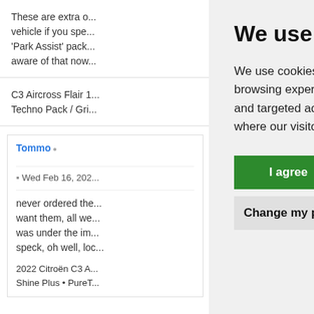These are extra options for the vehicle if you specify the 'Park Assist' pack... aware of that now
C3 Aircross Flair 1... Techno Pack / Gri...
Tommo
Wed Feb 16, 202...
never ordered the... want them, all we... was under the imp... speck, oh well, loc...
2022 Citroën C3 A... Shine Plus • PureT...
We use cookies
We use cookies and other tracking technologies to improve your browsing experience on our website, to show you personalized content and targeted ads, to analyze our website traffic, and to understand where our visitors are coming from.
I agree
Change my preferences